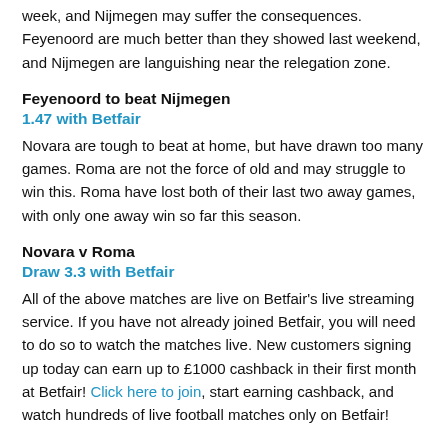week, and Nijmegen may suffer the consequences. Feyenoord are much better than they showed last weekend, and Nijmegen are languishing near the relegation zone.
Feyenoord to beat Nijmegen
1.47 with Betfair
Novara are tough to beat at home, but have drawn too many games. Roma are not the force of old and may struggle to win this. Roma have lost both of their last two away games, with only one away win so far this season.
Novara v Roma
Draw 3.3 with Betfair
All of the above matches are live on Betfair's live streaming service. If you have not already joined Betfair, you will need to do so to watch the matches live. New customers signing up today can earn up to £1000 cashback in their first month at Betfair! Click here to join, start earning cashback, and watch hundreds of live football matches only on Betfair!